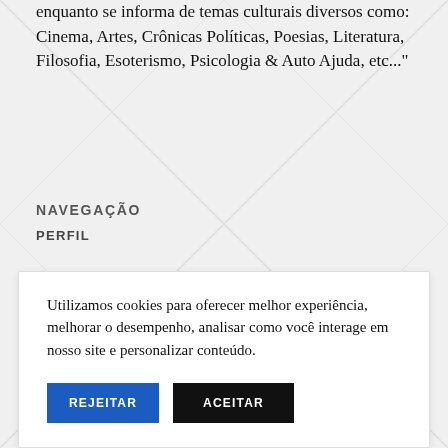enquanto se informa de temas culturais diversos como: Cinema, Artes, Crônicas Políticas, Poesias, Literatura, Filosofia, Esoterismo, Psicologia & Auto Ajuda, etc..."
NAVEGAÇÃO
PERFIL
Utilizamos cookies para oferecer melhor experiência, melhorar o desempenho, analisar como você interage em nosso site e personalizar conteúdo.
REJEITAR   ACEITAR